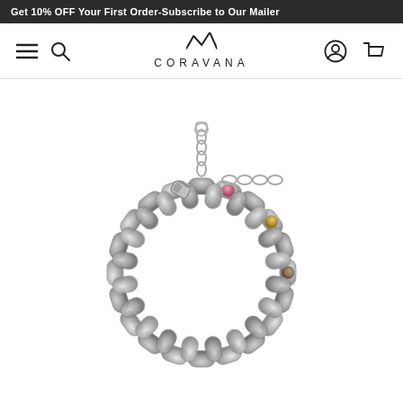Get 10% OFF Your First Order-Subscribe to Our Mailer   Buy M...
[Figure (screenshot): Coravana website navigation bar with hamburger menu, search icon, Coravana logo in center, user account icon, and shopping cart icon]
[Figure (photo): Silver curb chain bracelet with multicolored gemstone crystals (pink, brown/champagne tones) set into the chain links, with an extension chain and lobster clasp closure, photographed on white background]